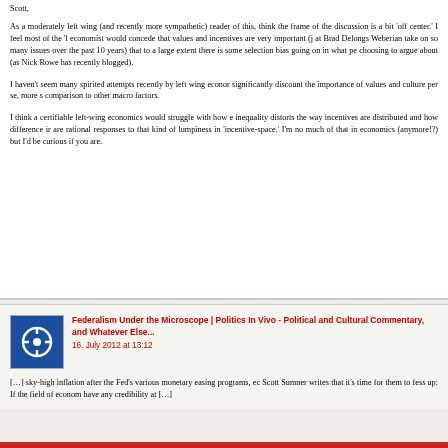Scott,
As a moderately left wing (and recently more sympathetic) reader of this, think the frame of the discussion is a bit 'off center.' I feel most of the 'l economist would concede that values and incentives are very important (j at Brad Delongs Weberian take on so many issues over the past 10 years) that to a large extent there is some selection bias going on in what pe choosing to argue about (as Nick Rowe has recently blogged).
I haven't seem many spirited attempts recently by left wing econor significantly discount the importance of values and culture per se, more s comparison to other macro factors.
I think a certifiable left-wing economics would struggle with how e inequality distorts the way incentives are distributed and how difference ir are rational responses to that kind of lumpiness in 'incentive-space.' I'm no much of that in economics (anymore!?) but I'd be curious if you are.
Federalism Under the Microscope | Politics In Vivo - Political and Cultural Commentary, and Whatever Else...
16. July 2012 at 13:12
[…] sky-high inflation after the Fed's various monetary easing programs, ec Scott Sumner writes that it's time for them to fess up: If the field of econom have any credibility at […]